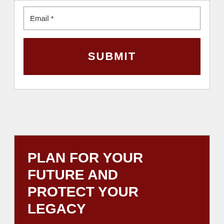Email *
SUBMIT
PLAN FOR YOUR FUTURE AND PROTECT YOUR LEGACY
There's a lot that goes into setting up a comprehensive estate plan, but with